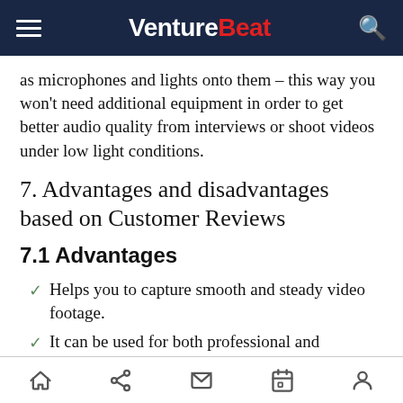VentureBeat
as microphones and lights onto them – this way you won't need additional equipment in order to get better audio quality from interviews or shoot videos under low light conditions.
7. Advantages and disadvantages based on Customer Reviews
7.1 Advantages
Helps you to capture smooth and steady video footage.
It can be used for both professional and
home share mail calendar profile